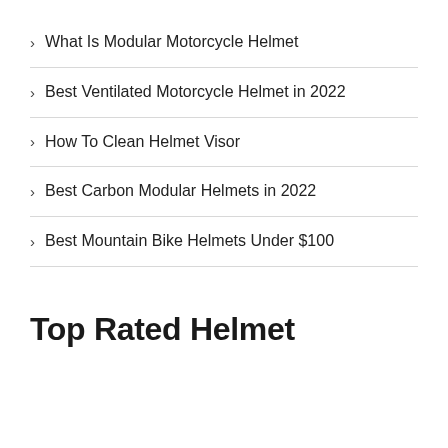What Is Modular Motorcycle Helmet
Best Ventilated Motorcycle Helmet in 2022
How To Clean Helmet Visor
Best Carbon Modular Helmets in 2022
Best Mountain Bike Helmets Under $100
Top Rated Helmet